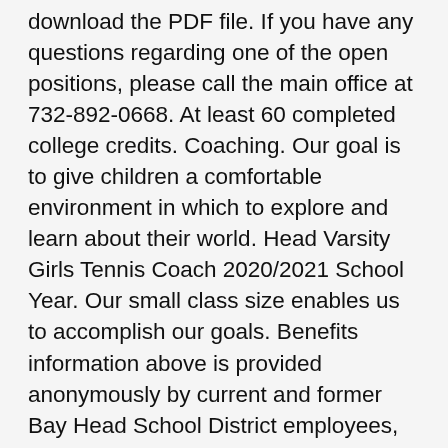download the PDF file. If you have any questions regarding one of the open positions, please call the main office at 732-892-0668. At least 60 completed college credits. Coaching. Our goal is to give children a comfortable environment in which to explore and learn about their world. Head Varsity Girls Tennis Coach 2020/2021 School Year. Our small class size enables us to accomplish our goals. Benefits information above is provided anonymously by current and former Bay Head School District employees, and may include a summary provided by the employer. Bay Head Elementary School is currently accepting applicants for the following positions. Substitute Teaching Job Postings. Mrs. J.M. Tree Sales: Will start at Christmas In Bay Head on 12/6, 5pm-8pm. The first annual school meeting of the Bay Head District #1, Borough of Bay Head, was held on March 20, 1900 at the Bay Head Borough Hall. (Please note that substitute teaching jobs are filled through this separate service at www.northcoastssa.org.Use JOB ID 102) Related contracted positions: PSI School Health Services is currently seeking Medical Assistants and/or Licensed Practical Nurses in the Bay Village School District. The Bay Head School creates a learning environment that